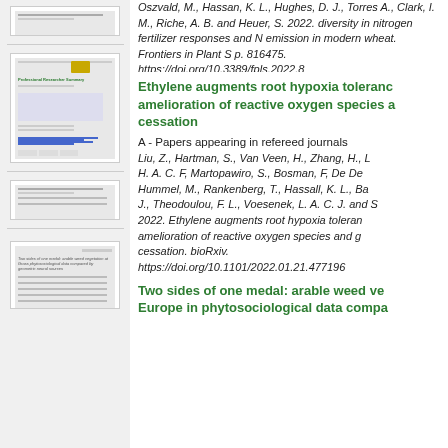Oszvald, M., Hassan, K. L., Hughes, D. J., Torres A., Clark, I. M., Riche, A. B. and Heuer, S. 2022. diversity in nitrogen fertilizer responses and N emission in modern wheat. Frontiers in Plant S p. 816475. https://doi.org/10.3389/fpls.2022.8
Ethylene augments root hypoxia tolerance: amelioration of reactive oxygen species and growth cessation
A - Papers appearing in refereed journals
Liu, Z., Hartman, S., Van Veen, H., Zhang, H., L H. A. C. F, Martopawiro, S., Bosman, F., De De Hummel, M., Rankenberg, T., Hassall, K. L., Ba J., Theodoulou, F. L., Voesenek, L. A. C. J. and S 2022. Ethylene augments root hypoxia tolerance: amelioration of reactive oxygen species and g cessation. bioRxiv. https://doi.org/10.1101/2022.01.21.477196
Two sides of one medal: arable weed vegetation in Europe in phytosociological data comparison